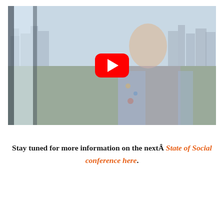[Figure (photo): A woman with glasses and blonde hair wearing a floral blazer speaking, with a city skyline visible through large windows behind her. A YouTube play button overlay is centered on the image.]
Stay tuned for more information on the nextÂ State of Social conference here.